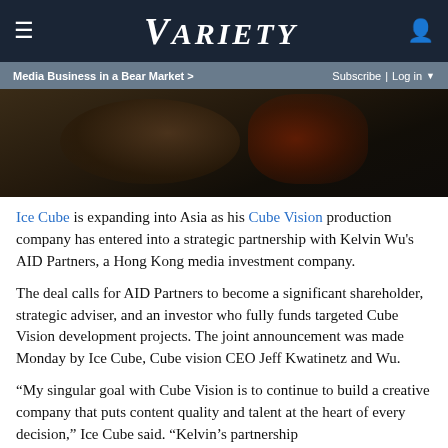VARIETY
Media Business in a Bear Market > | Subscribe | Log in
[Figure (photo): Dark photo of people at an event, dimly lit scene]
Ice Cube is expanding into Asia as his Cube Vision production company has entered into a strategic partnership with Kelvin Wu's AID Partners, a Hong Kong media investment company.
The deal calls for AID Partners to become a significant shareholder, strategic adviser, and an investor who fully funds targeted Cube Vision development projects. The joint announcement was made Monday by Ice Cube, Cube vision CEO Jeff Kwatinetz and Wu.
“My singular goal with Cube Vision is to continue to build a creative company that puts content quality and talent at the heart of every decision,” Ice Cube said. “Kelvin’s partnership